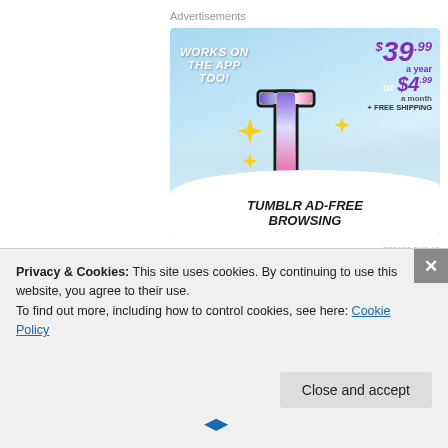Advertisements
[Figure (illustration): Tumblr Ad-Free Browsing advertisement. Sky blue background with Tumblr 't' logo. Text reads: WORKS ON THE APP TOO! $39.99 a year or $4.99 a month + FREE SHIPPING. Bottom white wave area with bold text: TUMBLR AD-FREE BROWSING.]
REPORT THIS AD
Privacy & Cookies: This site uses cookies. By continuing to use this website, you agree to their use.
To find out more, including how to control cookies, see here: Cookie Policy
Close and accept